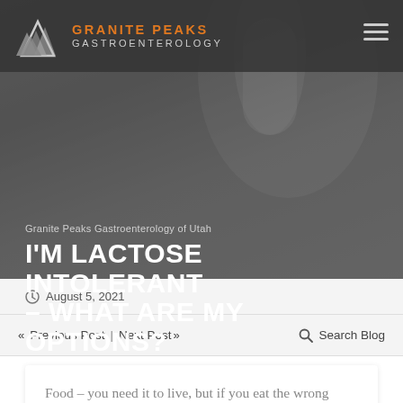[Figure (photo): Hero banner image with dark overlay showing a hand holding a white cup, with Granite Peaks Gastroenterology logo and hamburger menu in the navigation bar at the top]
GRANITE PEAKS GASTROENTEROLOGY
Granite Peaks Gastroenterology of Utah
I'M LACTOSE INTOLERANT – WHAT ARE MY OPTIONS?
August 5, 2021
« Previous Post | Next Post »
Search Blog
Food – you need it to live, but if you eat the wrong thing it can cause some serious